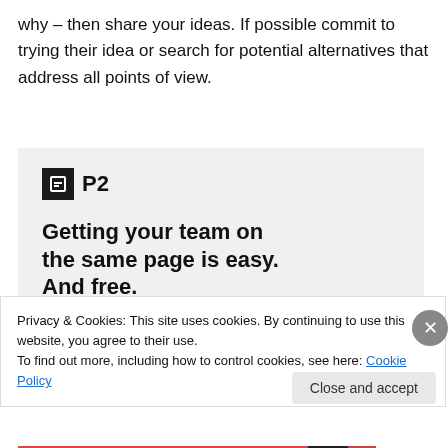why – then share your ideas. If possible commit to trying their idea or search for potential alternatives that address all points of view.
[Figure (screenshot): P2 product advertisement showing logo, tagline 'Getting your team on the same page is easy. And free.' with user avatars below on a light gray background.]
Privacy & Cookies: This site uses cookies. By continuing to use this website, you agree to their use.
To find out more, including how to control cookies, see here: Cookie Policy
Close and accept